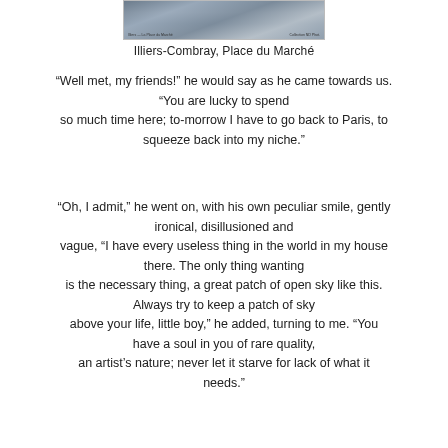[Figure (photo): Historical photograph of Illiers-Combray, Place du Marché, a town square scene in black and white]
Illiers-Combray, Place du Marché
“Well met, my friends!” he would say as he came towards us. “You are lucky to spend so much time here; to-morrow I have to go back to Paris, to squeeze back into my niche.”
“Oh, I admit,” he went on, with his own peculiar smile, gently ironical, disillusioned and vague, “I have every useless thing in the world in my house there. The only thing wanting is the necessary thing, a great patch of open sky like this. Always try to keep a patch of sky above your life, little boy,” he added, turning to me. “You have a soul in you of rare quality, an artist’s nature; never let it starve for lack of what it needs.”